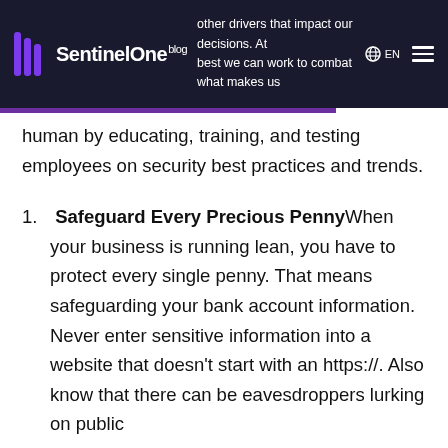SentinelOne blog — other drivers that impact our decisions. At best we can work to combat what makes us
human by educating, training, and testing employees on security best practices and trends.
Safeguard Every Precious Penny When your business is running lean, you have to protect every single penny. That means safeguarding your bank account information. Never enter sensitive information into a website that doesn't start with an https://. Also know that there can be eavesdroppers lurking on public